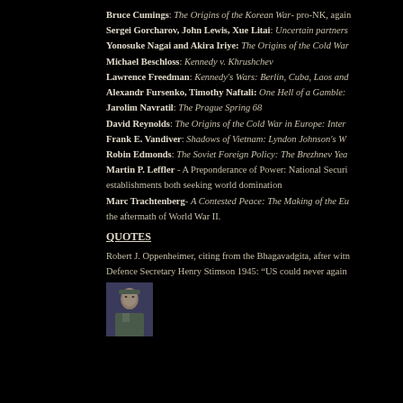Bruce Cumings: The Origins of the Korean War- pro-NK, again
Sergei Gorcharov, John Lewis, Xue Litai: Uncertain partners
Yonosuke Nagai and Akira Iriye: The Origins of the Cold War
Michael Beschloss: Kennedy v. Khrushchev
Lawrence Freedman: Kennedy's Wars: Berlin, Cuba, Laos and
Alexandr Fursenko, Timothy Naftali: One Hell of a Gamble:
Jarolim Navratil: The Prague Spring 68
David Reynolds: The Origins of the Cold War in Europe: Inter
Frank E. Vandiver: Shadows of Vietnam: Lyndon Johnson's W
Robin Edmonds: The Soviet Foreign Policy: The Brezhnev Yea
Martin P. Leffler - A Preponderance of Power: National Securi
establishments both seeking world domination
Marc Trachtenberg- A Contested Peace: The Making of the Eu
the aftermath of World War II.
QUOTES
Robert J. Oppenheimer, citing from the Bhagavadgita, after witn
Defence Secretary Henry Stimson 1945: “US could never again
[Figure (photo): Military officer portrait photo]